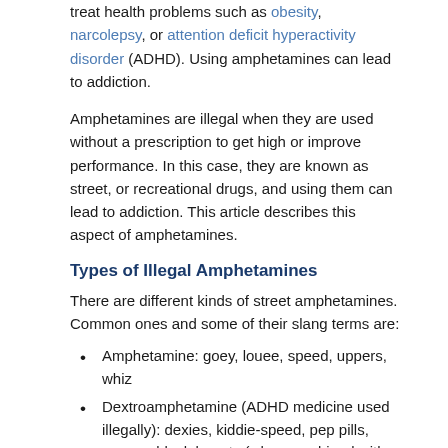treat health problems such as obesity, narcolepsy, or attention deficit hyperactivity disorder (ADHD). Using amphetamines can lead to addiction.
Amphetamines are illegal when they are used without a prescription to get high or improve performance. In this case, they are known as street, or recreational drugs, and using them can lead to addiction. This article describes this aspect of amphetamines.
Types of Illegal Amphetamines
There are different kinds of street amphetamines. Common ones and some of their slang terms are:
Amphetamine: goey, louee, speed, uppers, whiz
Dextroamphetamine (ADHD medicine used illegally): dexies, kiddie-speed, pep pills, uppers; black beauty (when combined with amphetamine)
Methamphetamine (crystal solid form): base, crystal, d-meth, fast, glass, ice, meth, speed, whiz, pure, wax
Methamphetamine (liquid form): leopard's blood,